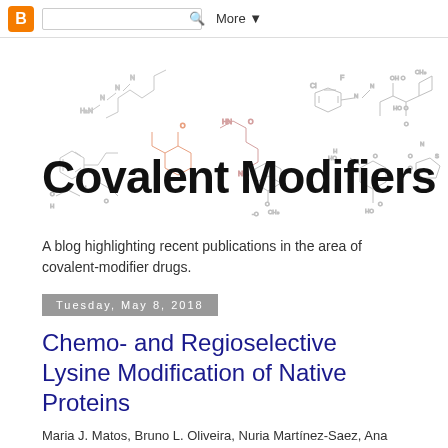Blogger | Search | More
Covalent Modifiers
A blog highlighting recent publications in the area of covalent-modifier drugs.
Tuesday, May 8, 2018
Chemo- and Regioselective Lysine Modification of Native Proteins
Maria J. Matos, Bruno L. Oliveira, Nuria Martínez-Saez, Ana Guerre, Jean Bertoldo, Maria Maneiro, Elizabeth Perkins, Julie Howard, Mich, Justin M. Chalker, Francisco Corzana, Gonzalo Jimenez-Oses, and